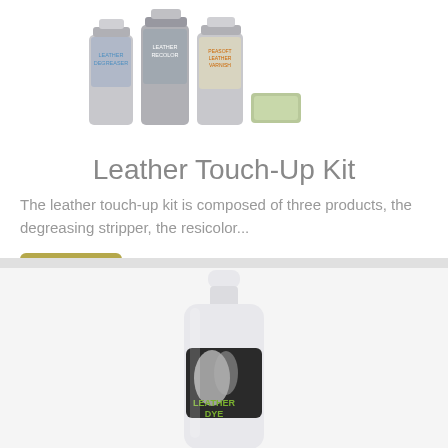[Figure (photo): Product photo of Leather Touch-Up Kit showing three spray cans and a wax bar]
Leather Touch-Up Kit
The leather touch-up kit is composed of three products, the degreasing stripper, the resicolor...
$55.44
[Figure (photo): Product photo of a white spray bottle labeled LEATHER DYE]